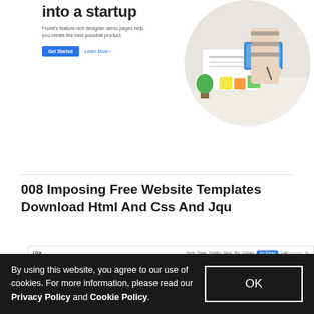[Figure (screenshot): Website hero section screenshot showing headline 'into a startup', subtitle text about Fromt's feature-rich designer demo pages, Get Started and Learn More buttons, and a circular cropped photo of a person working at a desk with papers and devices.]
008 Imposing Free Website Templates Download Html And Css And Jqu
[Figure (screenshot): Partial screenshot of a website template showing a navigation bar with logo 'Uza', nav links (Home, Pages, Portfolio, About, Buy, Contact), and a Get Started button.]
By using this website, you agree to our use of cookies. For more information, please read our Privacy Policy and Cookie Policy.